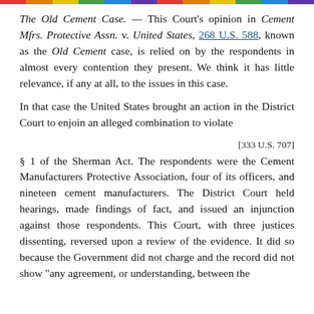The Old Cement Case. — This Court's opinion in Cement Mfrs. Protective Assn. v. United States, 268 U.S. 588, known as the Old Cement case, is relied on by the respondents in almost every contention they present. We think it has little relevance, if any at all, to the issues in this case.
In that case the United States brought an action in the District Court to enjoin an alleged combination to violate
[333 U.S. 707]
§ 1 of the Sherman Act. The respondents were the Cement Manufacturers Protective Association, four of its officers, and nineteen cement manufacturers. The District Court held hearings, made findings of fact, and issued an injunction against those respondents. This Court, with three justices dissenting, reversed upon a review of the evidence. It did so because the Government did not charge and the record did not show "any agreement, or understanding, between the